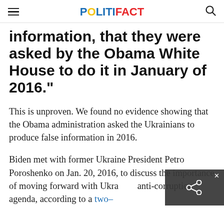POLITIFACT
information, that they were asked by the Obama White House to do it in January of 2016."
This is unproven. We found no evidence showing that the Obama administration asked the Ukrainians to produce false information in 2016.
Biden met with former Ukraine President Petro Poroshenko on Jan. 20, 2016, to discuss the importance of moving forward with Ukraine's anti-corruption agenda, according to a two–